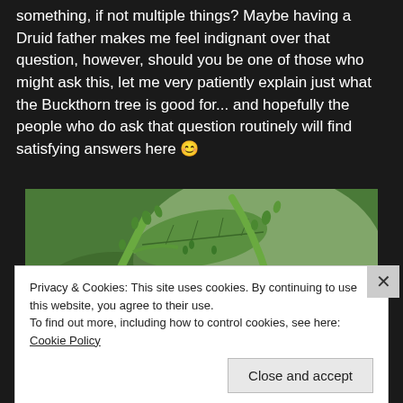something, if not multiple things? Maybe having a Druid father makes me feel indignant over that question, however, should you be one of those who might ask this, let me very patiently explain just what the Buckthorn tree is good for... and hopefully the people who do ask that question routinely will find satisfying answers here 😊
[Figure (photo): Close-up photograph of green buckthorn tree branches with small buds and tiny white flowers against a blurred green background]
Privacy & Cookies: This site uses cookies. By continuing to use this website, you agree to their use.
To find out more, including how to control cookies, see here: Cookie Policy
Close and accept